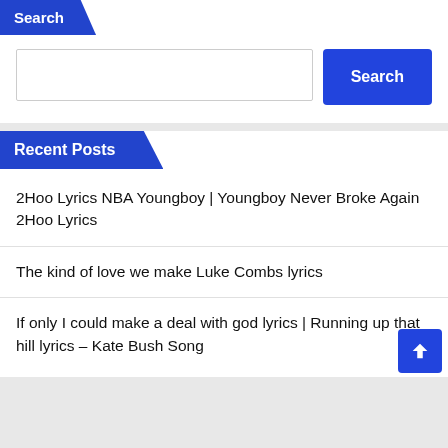Search
[Search input field and Search button]
Recent Posts
2Hoo Lyrics NBA Youngboy | Youngboy Never Broke Again 2Hoo Lyrics
The kind of love we make Luke Combs lyrics
If only I could make a deal with god lyrics | Running up that hill lyrics – Kate Bush Song